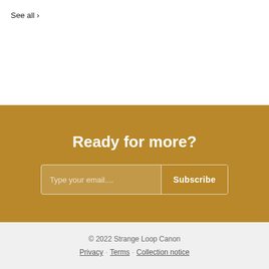See all ›
Ready for more?
Type your email.... Subscribe
© 2022 Strange Loop Canon
Privacy · Terms · Collection notice